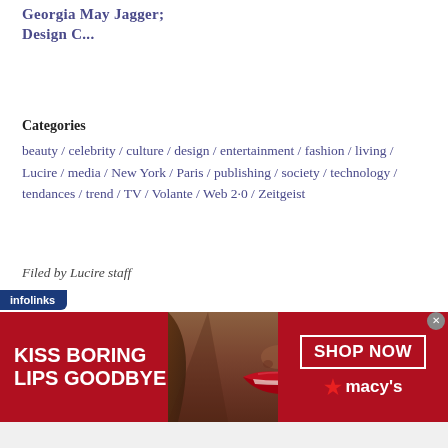Georgia May Jagger; Design C...
Categories
beauty / celebrity / culture / design / entertainment / fashion / living / Lucire / media / New York / Paris / publishing / society / technology / tendances / trend / TV / Volante / Web 2·0 / Zeitgeist
Filed by Lucire staff
Comments (1)
[Figure (screenshot): Infolinks advertisement banner: 'KISS BORING LIPS GOODBYE' with a woman's face showing red lips, and 'SHOP NOW ★ macy's' button on red background]